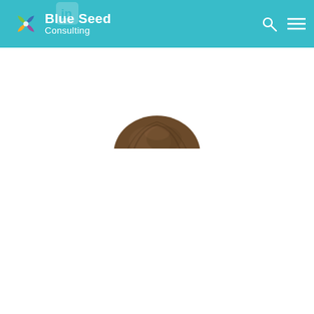[Figure (logo): Blue Seed Consulting logo with pinwheel icon and company name in white on teal header bar]
[Figure (photo): Top of a person's head with brown hair peeking up from the bottom edge of the header area, partially cropped — only the crown/top of the head is visible]